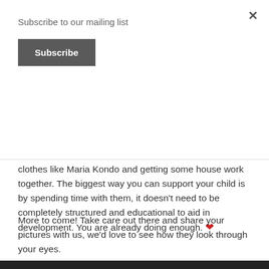Subscribe to our mailing list
Subscribe
clothes like Maria Kondo and getting some house work together. The biggest way you can support your child is by spending time with them, it doesn't need to be completely structured and educational to aid in development. You are already doing enough. ❤
More to come! Take care out there and share your pictures with us, we'd love to see how they look through your eyes.